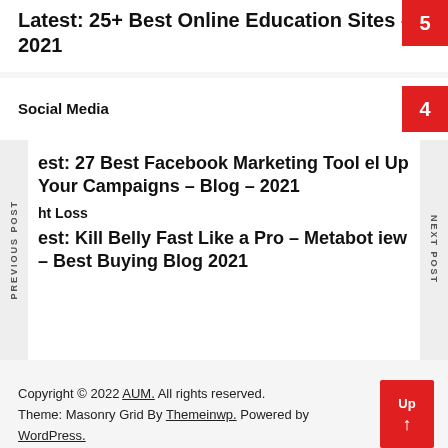Latest: 25+ Best Online Education Sites – 2021
Social Media
est: 27 Best Facebook Marketing Tool el Up Your Campaigns – Blog – 2021
ht Loss
est: Kill Belly Fast Like a Pro – Metabo iew – Best Buying Blog 2021
Copyright © 2022 AUM. All rights reserved. Theme: Masonry Grid By Themeinwp. Powered by WordPress.